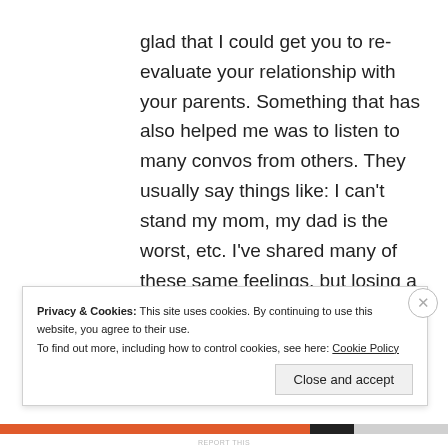glad that I could get you to re-evaluate your relationship with your parents. Something that has also helped me was to listen to many convos from others. They usually say things like: I can't stand my mom, my dad is the worst, etc. I've shared many of these same feelings, but losing a parent, and maturity have caused me to try another perspective. My relationship with my father hasn't always been the greatest, but I'm willing to keep trying. I had to learn to not compare my
Privacy & Cookies: This site uses cookies. By continuing to use this website, you agree to their use. To find out more, including how to control cookies, see here: Cookie Policy